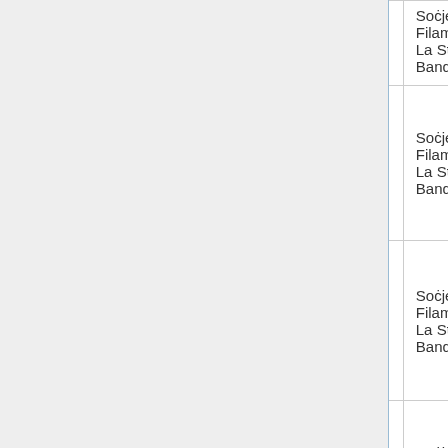| Track | Title | Composer | Band |
| --- | --- | --- | --- |
|  | Bongallas | Bongallas | La Stella Band C... |
| 02 | Giorno Di Festa | Angelo Pace | Soċjeta Filarmo... La Stell... Band C... |
| 03 | St George 2005 | Carmelo Vella | Soċjeta Filarmo... La Stell... Band C... |
| 04 | Al Pacino | David Agius (bandmaster) | Soċjeta Filarmo... La Stell... Band C... |
| 05 | Forza Ġorġjani | Sunny Galea | Soċjeta Filarmo... La Stell... Band C... |
|  |  |  | Soċjeta... |